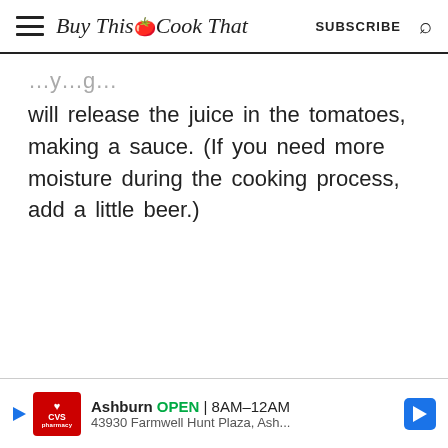Buy This Cook That | SUBSCRIBE
will release the juice in the tomatoes, making a sauce. (If you need more moisture during the cooking process, add a little beer.)
[Figure (other): CVS Pharmacy advertisement banner: Ashburn OPEN 8AM-12AM, 43930 Farmwell Hunt Plaza, Ash...]